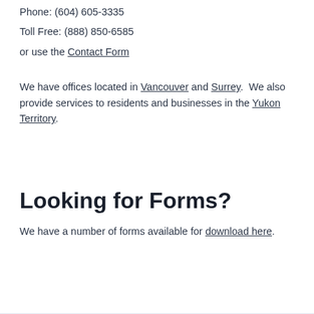Phone: (604) 605-3335
Toll Free: (888) 850-6585
or use the Contact Form
We have offices located in Vancouver and Surrey.  We also provide services to residents and businesses in the Yukon Territory.
Looking for Forms?
We have a number of forms available for download here.